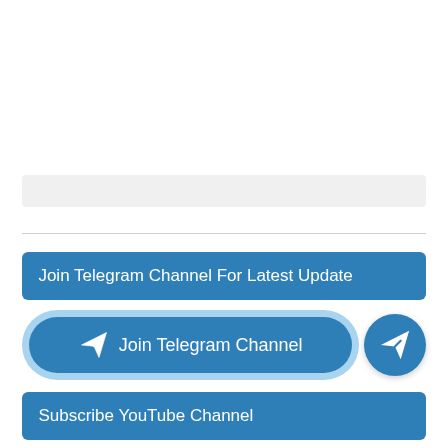[Figure (other): Gray placeholder/ad bar]
Join Telegram Channel For Latest Update
[Figure (other): Join Telegram Channel button with paper airplane icon and circular Telegram icon]
Subscribe YouTube Channel
Sam Mods